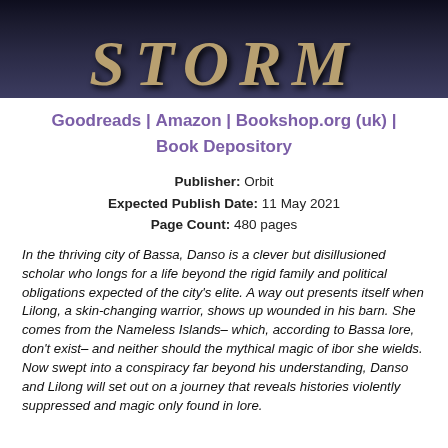[Figure (photo): Book cover image showing the word STORM in large stylized metallic letters on a dark background]
Goodreads | Amazon | Bookshop.org (uk) | Book Depository
Publisher: Orbit
Expected Publish Date: 11 May 2021
Page Count: 480 pages
In the thriving city of Bassa, Danso is a clever but disillusioned scholar who longs for a life beyond the rigid family and political obligations expected of the city's elite. A way out presents itself when Lilong, a skin-changing warrior, shows up wounded in his barn. She comes from the Nameless Islands– which, according to Bassa lore, don't exist– and neither should the mythical magic of ibor she wields. Now swept into a conspiracy far beyond his understanding, Danso and Lilong will set out on a journey that reveals histories violently suppressed and magic only found in lore.